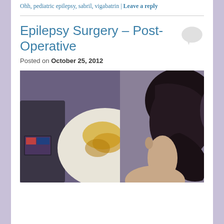Ohh, pediatric epilepsy, sabril, vigabatrin | Leave a reply
Epilepsy Surgery – Post-Operative
Posted on October 25, 2012
[Figure (photo): Photo showing a person with dark hair in a ponytail, back of head and neck visible, leaning over what appears to be a medical device with yellow/orange staining on a white surface, taken in a dimly lit hospital or clinical setting.]